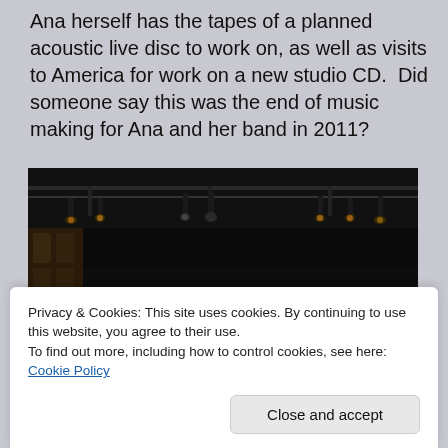Ana herself has the tapes of a planned acoustic live disc to work on, as well as visits to America for work on a new studio CD.  Did someone say this was the end of music making for Ana and her band in 2011?
[Figure (photo): Dark concert stage photo showing stage lighting rigs, a drum kit, amplifiers including one labeled 'Harmonie', and musicians on stage in a dimly lit venue]
Privacy & Cookies: This site uses cookies. By continuing to use this website, you agree to their use.
To find out more, including how to control cookies, see here: Cookie Policy
Close and accept